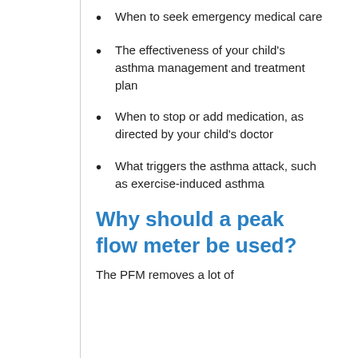When to seek emergency medical care
The effectiveness of your child's asthma management and treatment plan
When to stop or add medication, as directed by your child's doctor
What triggers the asthma attack, such as exercise-induced asthma
Why should a peak flow meter be used?
The PFM removes a lot of